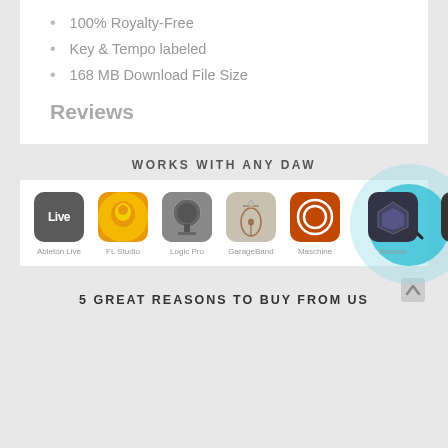100% Royalty-Free
Key & Tempo labeled
168 MB Download File Size
Reviews
WORKS WITH ANY DAW
[Figure (infographic): DAW compatibility icons: Ableton Live, FL Studio, Logic Pro, GarageBand, Maschine, Reason, Pro Tools with teal circle overlay]
5 GREAT REASONS TO BUY FROM US